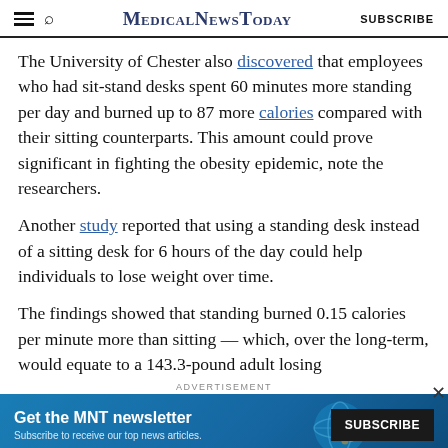MedicalNewsToday | SUBSCRIBE
The University of Chester also discovered that employees who had sit-stand desks spent 60 minutes more standing per day and burned up to 87 more calories compared with their sitting counterparts. This amount could prove significant in fighting the obesity epidemic, note the researchers.
Another study reported that using a standing desk instead of a sitting desk for 6 hours of the day could help individuals to lose weight over time.
The findings showed that standing burned 0.15 calories per minute more than sitting — which, over the long-term, would equate to a 143.3-pound adult losing
[Figure (screenshot): Advertisement banner for MNT newsletter subscription with blue background. Text reads 'Get the MNT newsletter' and 'Subscribe to receive our top news articles.' with a SUBSCRIBE button on the right.]